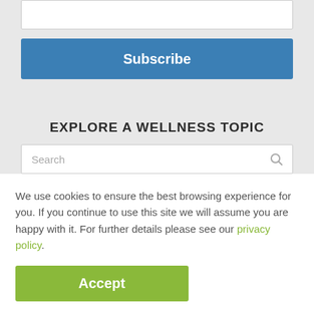[Figure (screenshot): Input text field (white box) at top of page on gray background]
[Figure (screenshot): Blue Subscribe button]
EXPLORE A WELLNESS TOPIC
[Figure (screenshot): Search input field with search icon]
We use cookies to ensure the best browsing experience for you. If you continue to use this site we will assume you are happy with it. For further details please see our privacy policy.
[Figure (screenshot): Green Accept button]